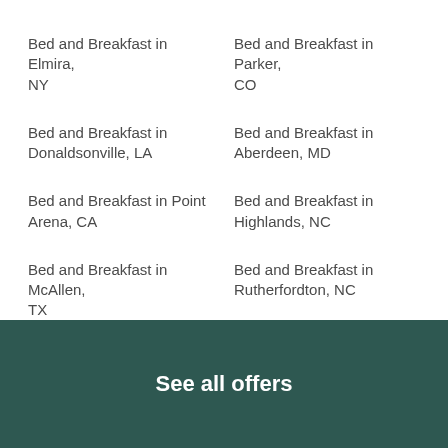Bed and Breakfast in Elmira, NY
Bed and Breakfast in Parker, CO
Bed and Breakfast in Donaldsonville, LA
Bed and Breakfast in Aberdeen, MD
Bed and Breakfast in Point Arena, CA
Bed and Breakfast in Highlands, NC
Bed and Breakfast in McAllen, TX
Bed and Breakfast in Rutherfordton, NC
Bed and Breakfast in Newaygo, MI
Bed and Breakfast in Mariaville, ME
Bed and Breakfast in Chico, CA
Bed and Breakfast in McGrath, AK
Bed and Breakfast in Saint ...
Bed and Breakfast in Tuscany ...
See all offers